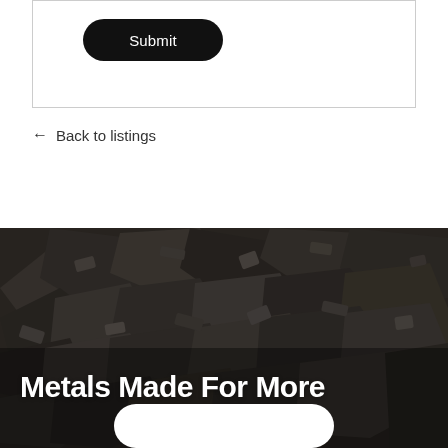[Figure (screenshot): Black rounded rectangle Submit button inside a bordered form box]
← Back to listings
[Figure (photo): Dark pile of scrap metal / coal chunks photographed from above, used as a background image with white text overlay reading 'Metals Made For More' and a partial white button at the bottom]